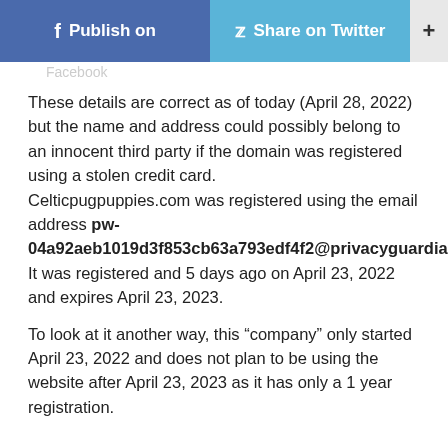Publish on Facebook | Share on Twitter | +
Facebook
These details are correct as of today (April 28, 2022) but the name and address could possibly belong to an innocent third party if the domain was registered using a stolen credit card. Celticpugpuppies.com was registered using the email address pw-04a92aeb1019d3f853cb63a793edf4f2@privacyguardia It was registered and 5 days ago on April 23, 2022 and expires April 23, 2023.
To look at it another way, this “company” only started April 23, 2022 and does not plan to be using the website after April 23, 2023 as it has only a 1 year registration.